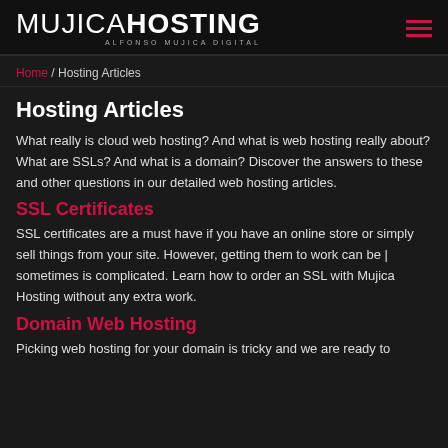MUJICA HOSTING — ALFONSO MUJICA DIGITAL
Home / Hosting Articles
Hosting Articles
What really is cloud web hosting? And what is web hosting really about? What are SSLs? And what is a domain? Discover the answers to these and other questions in our detailed web hosting articles.
SSL Certificates
SSL certificates are a must have if you have an online store or simply sell things from your site. However, getting them to work can be | sometimes is complicated. Learn how to order an SSL with Mujica Hosting without any extra work.
Domain Web Hosting
Picking web hosting for your domain is tricky and we are ready to